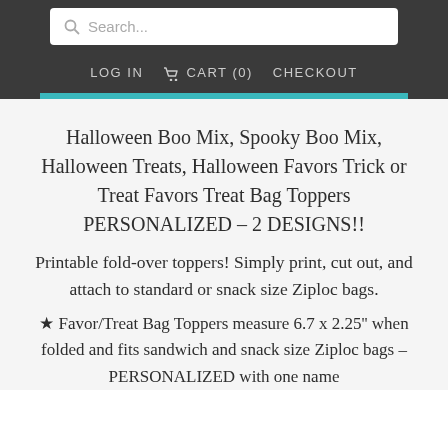Search... | LOG IN | CART (0) | CHECKOUT
Halloween Boo Mix, Spooky Boo Mix, Halloween Treats, Halloween Favors Trick or Treat Favors Treat Bag Toppers PERSONALIZED – 2 DESIGNS!!
Printable fold-over toppers! Simply print, cut out, and attach to standard or snack size Ziploc bags.
★ Favor/Treat Bag Toppers measure 6.7 x 2.25" when folded and fits sandwich and snack size Ziploc bags – PERSONALIZED with one name